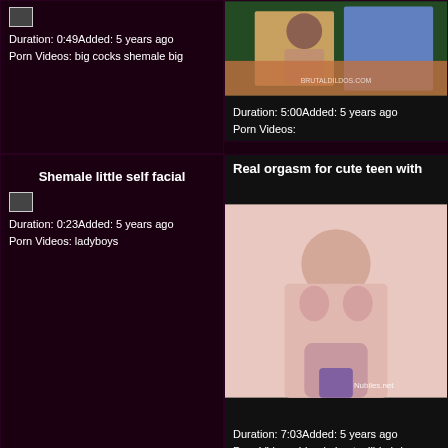Duration: 0:49Added: 5 years ago
Porn Videos: big cocks shemale big
[Figure (photo): Video thumbnail of a woman on an orange couch with brutaldildos.com watermark]
Duration: 5:00Added: 5 years ago
Porn Videos:
Shemale little self facial
Duration: 0:23Added: 5 years ago
Porn Videos: ladyboys
Real orgasm for cute teen with
[Figure (photo): Video thumbnail of a blonde woman with Nubiles.net watermark]
Duration: 7:03Added: 5 years ago
Porn Videos: blonde busty dildo hd